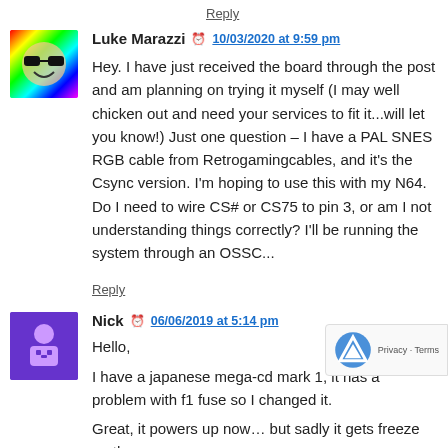Reply
Luke Marazzi  10/03/2020 at 9:59 pm
Hey. I have just received the board through the post and am planning on trying it myself (I may well chicken out and need your services to fit it...will let you know!) Just one question – I have a PAL SNES RGB cable from Retrogamingcables, and it's the Csync version. I'm hoping to use this with my N64. Do I need to wire CS# or CS75 to pin 3, or am I not understanding things correctly? I'll be running the system through an OSSC...
Reply
Nick  06/06/2019 at 5:14 pm
Hello,
I have a japanese mega-cd mark 1, it has a problem with f1 fuse so I changed it.
Great, it powers up now… but sadly it gets freeze on the